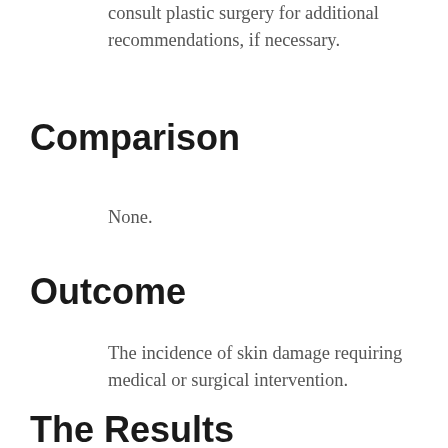consult plastic surgery for additional recommendations, if necessary.
Comparison
None.
Outcome
The incidence of skin damage requiring medical or surgical intervention.
The Results